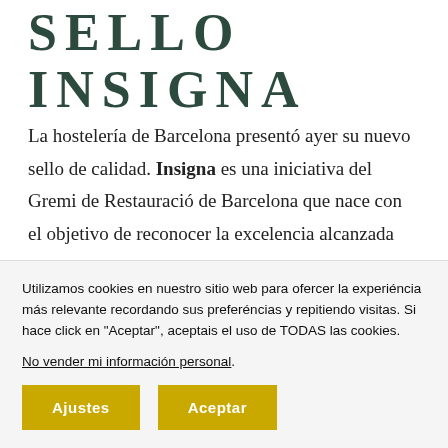SELLO INSIGNA
La hostelería de Barcelona presentó ayer su nuevo sello de calidad. Insigna es una iniciativa del Gremi de Restauració de Barcelona que nace con el objetivo de reconocer la excelencia alcanzada por los restaurantes de
Utilizamos cookies en nuestro sitio web para ofercer la experiéncia más relevante recordando sus preferéncias y repitiendo visitas. Si hace click en "Aceptar", aceptais el uso de TODAS las cookies.
No vender mi información personal.
Ajustes  Aceptar